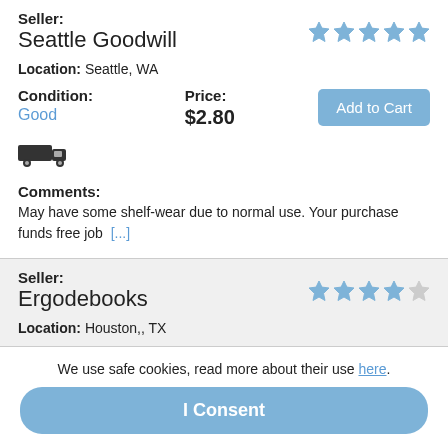Seller: Seattle Goodwill — 4 stars — Location: Seattle, WA
Condition: Good | Price: $2.80 | Add to Cart
[Figure (other): Truck/shipping icon]
Comments: May have some shelf-wear due to normal use. Your purchase funds free job [...]
Seller: Ergodebooks — 4 stars — Location: Houston,, TX — Ask seller a question
We use safe cookies, read more about their use here.
I Consent